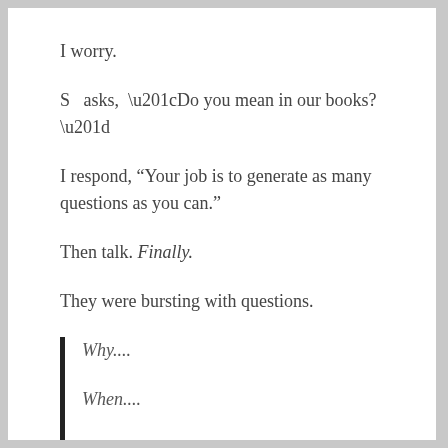I worry.
S  asks,  “Do you mean in our books?”
I respond, “Your job is to generate as many questions as you can.”
Then talk. Finally.
They were bursting with questions.
Why....
When....
How come....